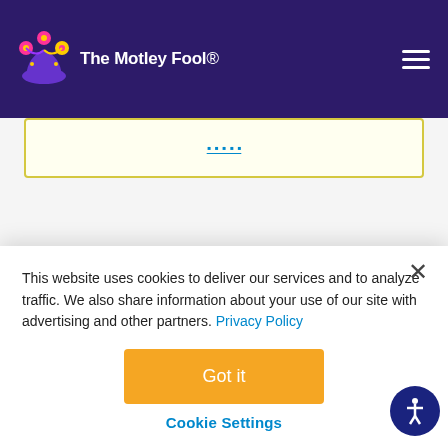The Motley Fool
[Figure (screenshot): Promotional yellow banner with blue link text, partially visible]
The streaming video specialist may be down, but
This website uses cookies to deliver our services and to analyze traffic. We also share information about your use of our site with advertising and other partners. Privacy Policy
Got it
Cookie Settings